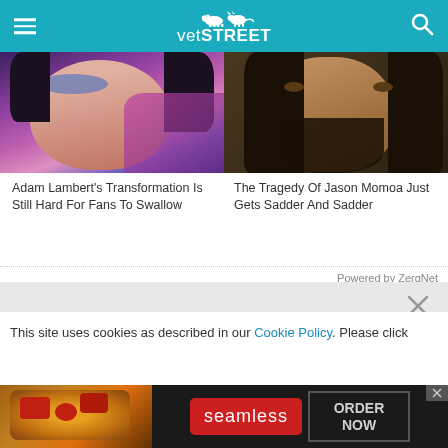vetSTREET
[Figure (photo): Close-up portrait of Adam Lambert with colorful makeup and blue eyeshadow]
Adam Lambert's Transformation Is Still Hard For Fans To Swallow
[Figure (photo): Close-up portrait of Jason Momoa with long dark hair and beard]
The Tragedy Of Jason Momoa Just Gets Sadder And Sadder
Powered by ZergNet
This site uses cookies as described in our Cookie Policy. Please click
[Figure (screenshot): Seamless food delivery advertisement with pizza image, seamless logo and ORDER NOW button]